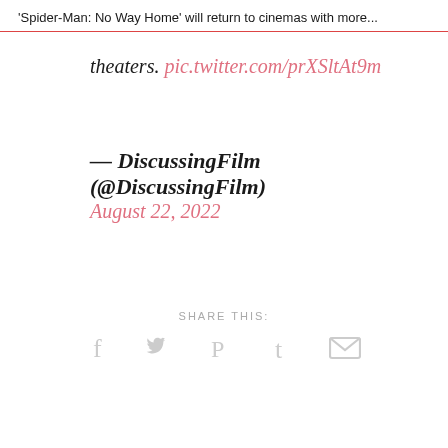'Spider-Man: No Way Home' will return to cinemas with more...
theaters. pic.twitter.com/prXSltAt9m
— DiscussingFilm (@DiscussingFilm)
August 22, 2022
SHARE THIS:
[Figure (infographic): Social sharing icons: Facebook, Twitter, Pinterest, Tumblr, Email]